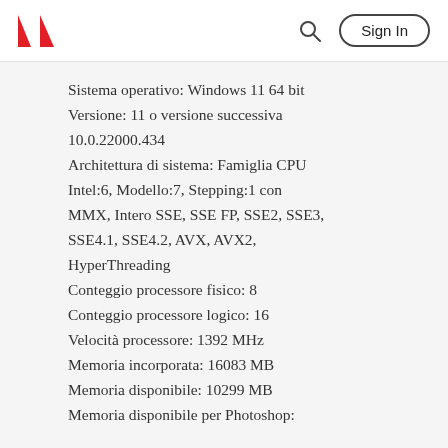Adobe | Sign In
Sistema operativo: Windows 11 64 bit
Versione: 11 o versione successiva 10.0.22000.434
Architettura di sistema: Famiglia CPU Intel:6, Modello:7, Stepping:1 con MMX, Intero SSE, SSE FP, SSE2, SSE3, SSE4.1, SSE4.2, AVX, AVX2, HyperThreading
Conteggio processore fisico: 8
Conteggio processore logico: 16
Velocità processore: 1392 MHz
Memoria incorporata: 16083 MB
Memoria disponibile: 10299 MB
Memoria disponibile per Photoshop: